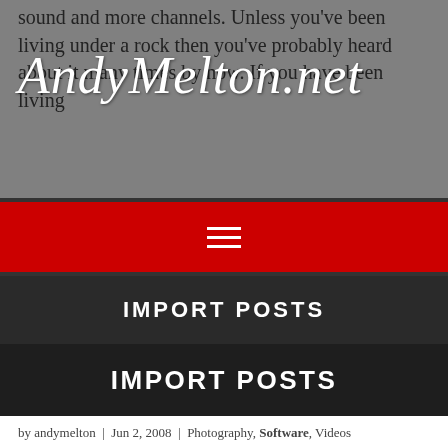sound and more channels. Unless you've been living under a rock then you've probably heard about it many times by now. If you have been living
[Figure (logo): AndyMelton.net handwritten cursive logo in white overlaid on gray background]
[Figure (other): Red navigation bar with hamburger menu icon (three horizontal white lines)]
IMPORT POSTS
IMPORT POSTS
by andymelton | Jun 2, 2008 | Photography, Software, Videos
I have been seeing a lot of articles lately about high dynamic range (HDR) photography. I've always been fascinated by it. I read through a couple of blog entries and decided that I should try it myself. In the past I have said that I couldn't do things like HDR